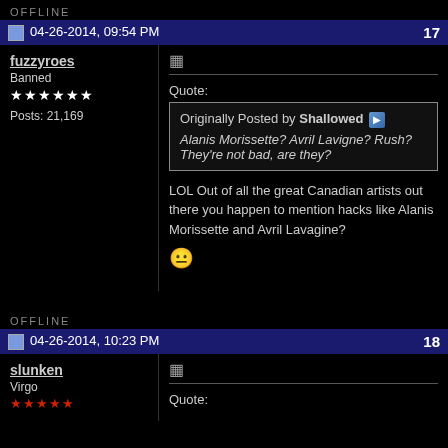OFFLINE
04-26-2014, 09:54 PM  17
fuzzyroes
Banned
★★★★★★
Posts: 21,169
Quote:
Originally Posted by Shallowed
Alanis Morissette? Avril Lavigne? Rush? They're not bad, are they?
LOL Out of all the great Canadian artists out there you happen to mention hacks like Alanis Morissette and Avril Lavagine? 😐
OFFLINE
04-26-2014, 10:23 PM  18
slunken
Virgo
Quote: